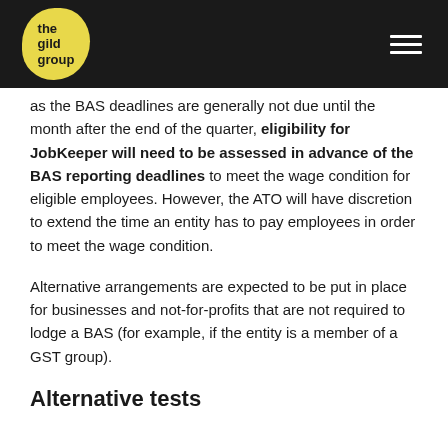the gild group
as the BAS deadlines are generally not due until the month after the end of the quarter, eligibility for JobKeeper will need to be assessed in advance of the BAS reporting deadlines to meet the wage condition for eligible employees. However, the ATO will have discretion to extend the time an entity has to pay employees in order to meet the wage condition.
Alternative arrangements are expected to be put in place for businesses and not-for-profits that are not required to lodge a BAS (for example, if the entity is a member of a GST group).
Alternative tests